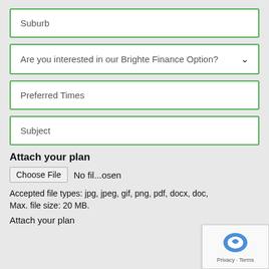Suburb
Are you interested in our Brighte Finance Option?
Preferred Times
Subject
Attach your plan
Choose File  No fil...osen
Accepted file types: jpg, jpeg, gif, png, pdf, docx, doc,
Max. file size: 20 MB.
Attach your plan